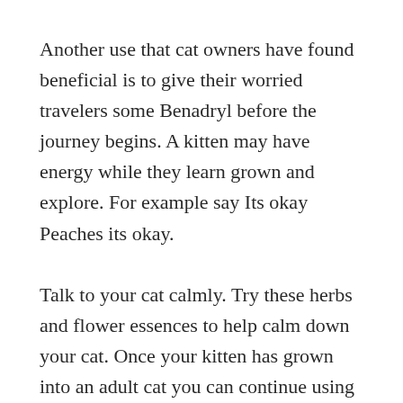Another use that cat owners have found beneficial is to give their worried travelers some Benadryl before the journey begins. A kitten may have energy while they learn grown and explore. For example say Its okay Peaches its okay.
Talk to your cat calmly. Try these herbs and flower essences to help calm down your cat. Once your kitten has grown into an adult cat you can continue using these toys to help her stay active and reduce boredom.